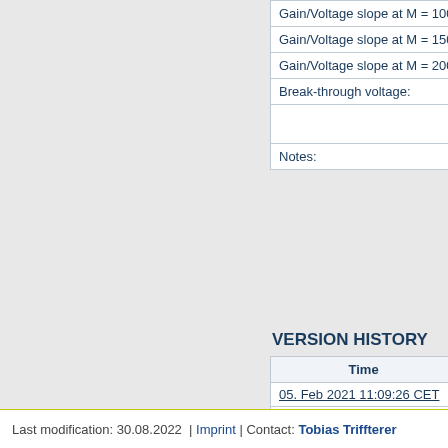| Property | Value |
| --- | --- |
| Gain/Voltage slope at M = 100: |  |
| Gain/Voltage slope at M = 150: |  |
| Gain/Voltage slope at M = 200: |  |
| Break-through voltage: |  |
|  |  |
| Notes: |  |
VERSION HISTORY
| Time |  |
| --- | --- |
| 05. Feb 2021 11:09:26 CET | jr |
| 11. Aug 2020 18:03:42 CEST | jr |
| 11. Aug 2020 17:53:02 CEST | jr |
| 10. Feb 2020 18:59:29 CET | s |
| 29. Nov 2019 11:50:02 CET | jr |
| 27. Nov 2019 19:57:55 CET | jr |
| 25. Nov 2019 17:23:52 CET | jr |
| 07. Oct 2019 14:33:31 CEST | jg |
| 05. Jul 2019 13:58:01 CEST | jr |
| 21. Dec 2018 11:46:53 CET | T |
Last modification: 30.08.2022  | Imprint | Contact: Tobias Triffterer